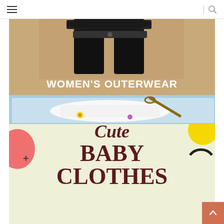Navigation bar with hamburger menu and search icon
[Figure (photo): Women's outerwear banner with tan/beige background showing black pants/clothing photo and text WOMEN'S OUTERWEAR with SHOP NOW button]
[Figure (illustration): Baby clothes promotional banner with light yellow-green background, pink blob shape on left, yellow circle on top right, decorative plus sign, and bold dark red text reading 'Cute BABY CLOTHES' with photo of baby clothing at bottom]